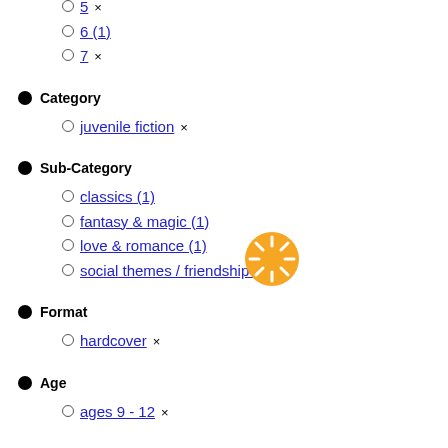5 ×
6 (1)
7 ×
Category
juvenile fiction ×
Sub-Category
classics (1)
fantasy & magic (1)
love & romance (1)
social themes / friendship (1)
Format
hardcover ×
Age
ages 9 - 12 ×